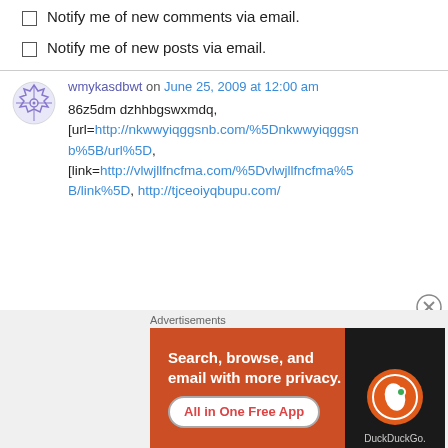Notify me of new comments via email.
Notify me of new posts via email.
wmykasdbwt on June 25, 2009 at 12:00 am
86z5dm dzhhbgswxmdq, [url=http://nkwwyiqggsnb.com/%5Dnkwwyiqggsnb%5B/url%5D, [link=http://vlwjllfncfma.com/%5Dvlwjllfncfma%5B/link%5D, http://tjceoiyqbupu.com/
[Figure (other): DuckDuckGo advertisement banner: Search, browse, and email with more privacy. All in One Free App.]